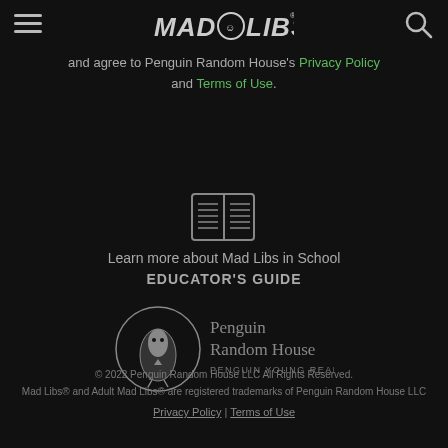Mad Libs
and agree to Penguin Random House's Privacy Policy and Terms of Use.
[Figure (illustration): Open book icon outline]
Learn more about Mad Libs in School
EDUCATOR'S GUIDE
[Figure (logo): Penguin Random House Penguin Young Readers logo]
© 2022 Penguin Random House LLC All Rights Reserved.
Mad Libs® and Adult Mad Libs® are registered trademarks of Penguin Random House LLC
Privacy Policy | Terms of Use